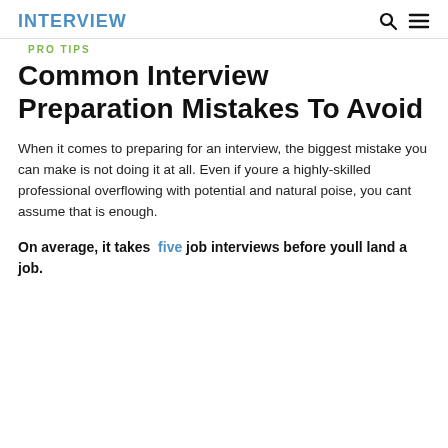INTERVIEW
PRO TIPS
Common Interview Preparation Mistakes To Avoid
When it comes to preparing for an interview, the biggest mistake you can make is not doing it at all. Even if youre a highly-skilled professional overflowing with potential and natural poise, you cant assume that is enough.
On average, it takes five job interviews before youll land a job.